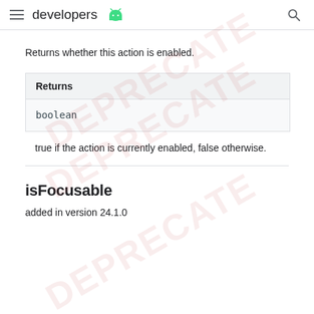developers
Returns whether this action is enabled.
| Returns |
| --- |
| boolean |
true if the action is currently enabled, false otherwise.
isFocusable
added in version 24.1.0